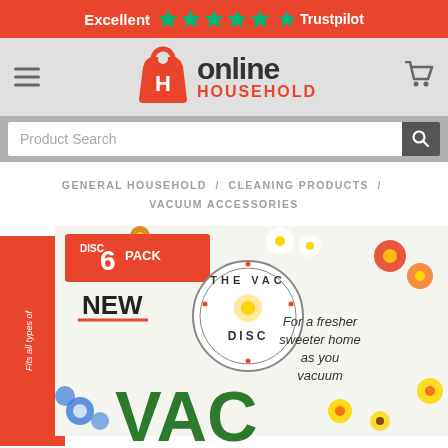[Figure (logo): Trustpilot banner with orange-red background, 'Excellent' text, 5 green stars, and Trustpilot logo]
[Figure (logo): Online Household logo with shopping bag icon, 'online' in dark text and 'HOUSEHOLD' in red, hamburger menu icon on left, cart icon on right]
[Figure (screenshot): Search bar with 'Product Search' placeholder and magnifying glass button]
GENERAL HOUSEHOLD / CLEANING PRODUCTS / VACUUM ACCESSORIES
[Figure (photo): Product image of The Vac Disc 6 Pack box with floral design, 'NEW' text, 'For a fresher sweeter home as you vacuum' and 'VAC' text visible]